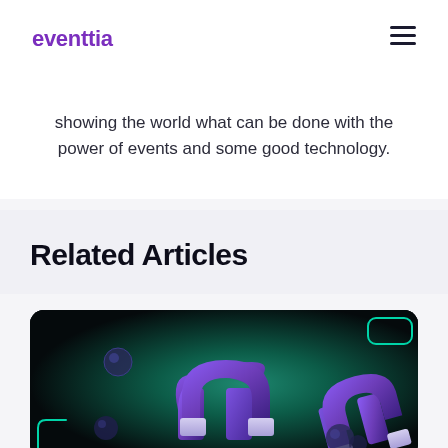eventtia
showing the world what can be done with the power of events and some good technology.
Related Articles
[Figure (illustration): Dark card image with a 3D purple horseshoe magnet and floating blue spheres on a dark teal radial gradient background, with teal rounded rectangle corner decorations]